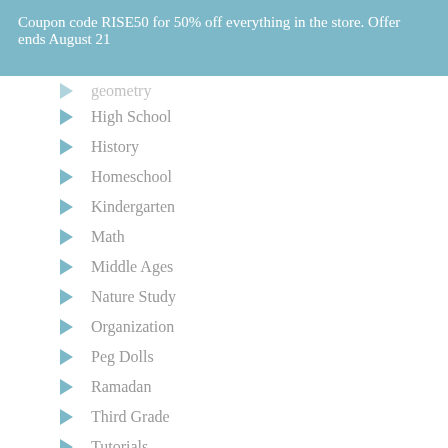Coupon code RISE50 for 50% off everything in the store. Offer ends August 21
geometry
High School
History
Homeschool
Kindergarten
Math
Middle Ages
Nature Study
Organization
Peg Dolls
Ramadan
Third Grade
Tutorials